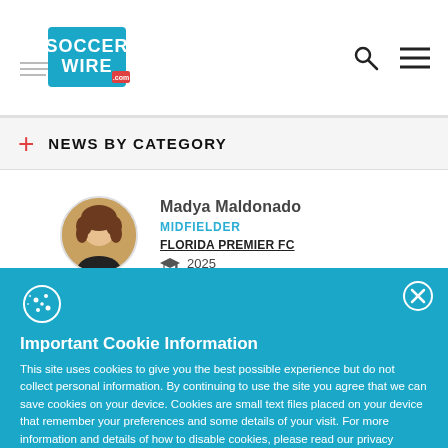SoccerWire.com
NEWS BY CATEGORY
Madya Maldonado
MIDFIELDER
FLORIDA PREMIER FC
2025
Kaeden Koons-Haridikis
Important Cookie Information
This site uses cookies to give you the best possible experience but do not collect personal information. By continuing to use the site you agree that we can save cookies on your device. Cookies are small text files placed on your device that remember your preferences and some details of your visit. For more information and details of how to disable cookies, please read our privacy policy.
ACCEPT